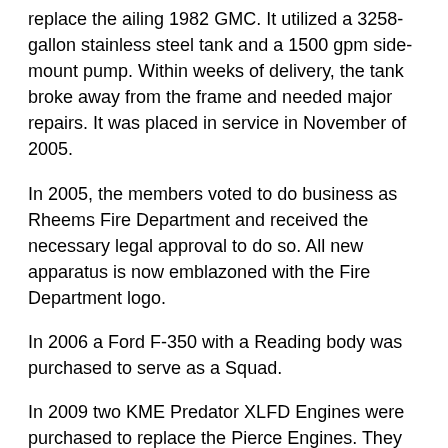replace the ailing 1982 GMC. It utilized a 3258-gallon stainless steel tank and a 1500 gpm side-mount pump. Within weeks of delivery, the tank broke away from the frame and needed major repairs. It was placed in service in November of 2005.
In 2005, the members voted to do business as Rheems Fire Department and received the necessary legal approval to do so. All new apparatus is now emblazoned with the Fire Department logo.
In 2006 a Ford F-350 with a Reading body was purchased to serve as a Squad.
In 2009 two KME Predator XLFD Engines were purchased to replace the Pierce Engines. They featured 1500 gpm pumps, 1000 gallon tanks and 20-gallon foam cells. Each had a seating capacity for 6 firefighters. Both utilize Caperpillar C-9 425 hp motors with Caterpillar CX-28 Automatic Transmissions and 9000 Watt Light Towers